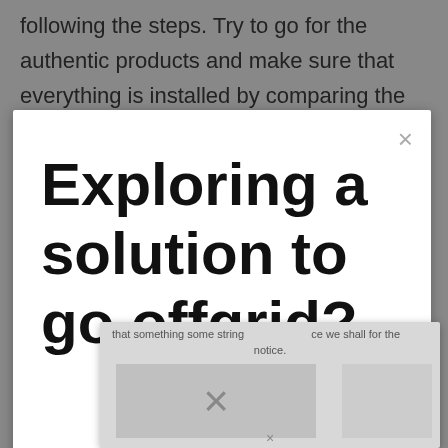following the steps. Try to go for the authentic products and make sure that everything is installed by comparing the energy consumption
Exploring a solution to go offgrid?
[Figure (screenshot): A nested modal/popup dialog UI screenshot showing a close button (×) in the top right, a large bold title 'Exploring a solution to go offgrid?' partially visible, and a secondary overlapping dialog with faded text and a large × symbol in the center, with another × at the bottom.]